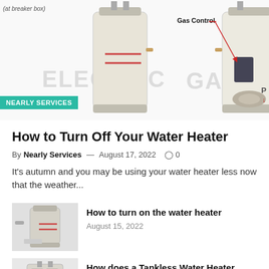[Figure (illustration): Diagram showing electric and gas water heater cross-sections with labels including 'Gas Control'. Text overlays read 'ELECTRIC' and 'GAS'.]
NEARLY SERVICES
How to Turn Off Your Water Heater
By Nearly Services — August 17, 2022  0
It's autumn and you may be using your water heater less now that the weather...
How to turn on the water heater
August 15, 2022
How does a Tankless Water Heater Work
August 12, 2022